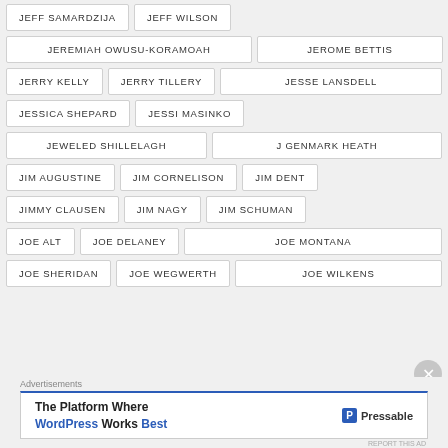JEFF SAMARDZIJA
JEFF WILSON
JEREMIAH OWUSU-KORAMOAH
JEROME BETTIS
JERRY KELLY
JERRY TILLERY
JESSE LANSDELL
JESSICA SHEPARD
JESSI MASINKO
JEWELED SHILLELAGH
J GENMARK HEATH
JIM AUGUSTINE
JIM CORNELISON
JIM DENT
JIMMY CLAUSEN
JIM NAGY
JIM SCHUMAN
JOE ALT
JOE DELANEY
JOE MONTANA
JOE SHERIDAN
JOE WEGWERTH
JOE WILKENS
Advertisements
The Platform Where WordPress Works Best — Pressable